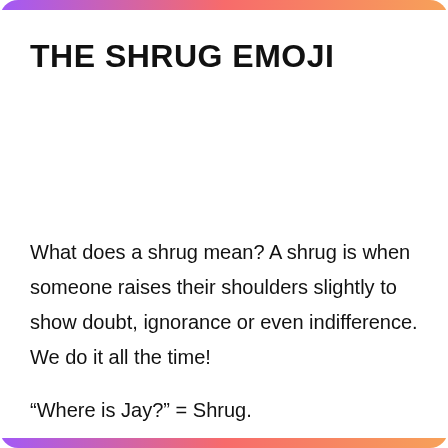THE SHRUG EMOJI
What does a shrug mean? A shrug is when someone raises their shoulders slightly to show doubt, ignorance or even indifference. We do it all the time!
“Where is Jay?” = Shrug.